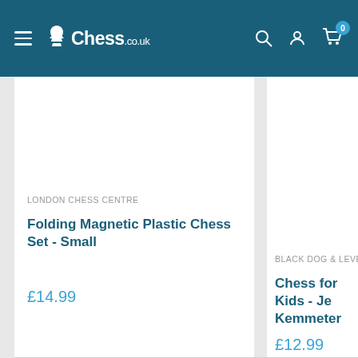Chess.co.uk — navigation header with hamburger menu, logo, search, account, and cart icons (cart badge: 0)
LONDON CHESS CENTRE
Folding Magnetic Plastic Chess Set - Small
£14.99
BLACK DOG & LEVENTH
Chess for Kids - Je Kemmeter
£12.99